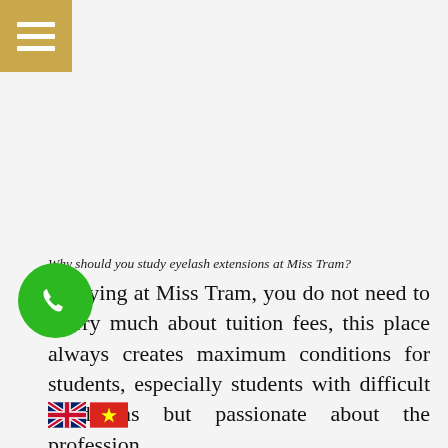[Figure (other): Golden/tan menu hamburger button in top-left corner with three white horizontal lines on gold background]
Why should you study eyelash extensions at Miss Tram?
Studying at Miss Tram, you do not need to worry much about tuition fees, this place always creates maximum conditions for students, especially students with difficult conditions but passionate about the profession.

We always support the students to the maximum, helping them achieve the best results
[Figure (other): Green circular phone/call button icon on bottom-left]
[Figure (other): UK flag and Vietnamese flag emoji icons at bottom left]